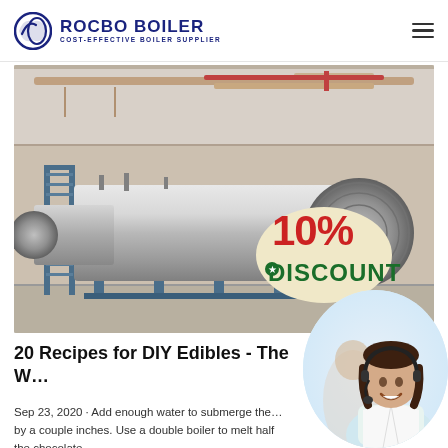ROCBO BOILER — COST-EFFECTIVE BOILER SUPPLIER
[Figure (photo): Large industrial horizontal boiler tank in a factory setting with blue metal support structure, pipework overhead, and a 10% DISCOUNT badge overlay in the lower right corner.]
20 Recipes for DIY Edibles - The W…
Sep 23, 2020 · Add enough water to submerge the … by a couple inches. Use a double boiler to melt half the chocolate